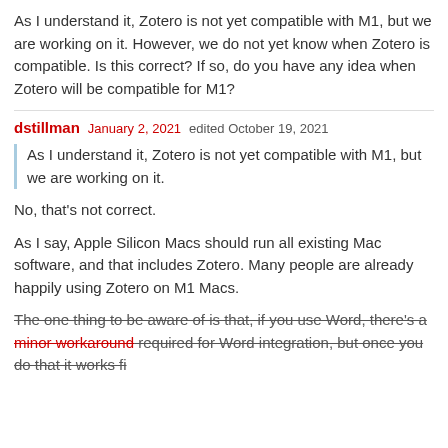As I understand it, Zotero is not yet compatible with M1, but we are working on it. However, we do not yet know when Zotero is compatible. Is this correct? If so, do you have any idea when Zotero will be compatible for M1?
dstillman  January 2, 2021  edited October 19, 2021
As I understand it, Zotero is not yet compatible with M1, but we are working on it.
No, that's not correct.
As I say, Apple Silicon Macs should run all existing Mac software, and that includes Zotero. Many people are already happily using Zotero on M1 Macs.
The one thing to be aware of is that, if you use Word, there's a minor workaround required for Word integration, but once you do that it works fi...